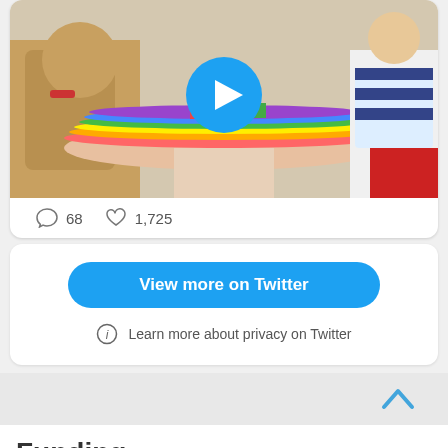[Figure (screenshot): Embedded Twitter/social media video player showing a TV show scene with costumed characters around a rainbow-colored table. A blue circular play button is centered on the video.]
68   1,725
[Figure (screenshot): View more on Twitter button (blue rounded rectangle) and privacy info row]
View more on Twitter
Learn more about privacy on Twitter
Funding